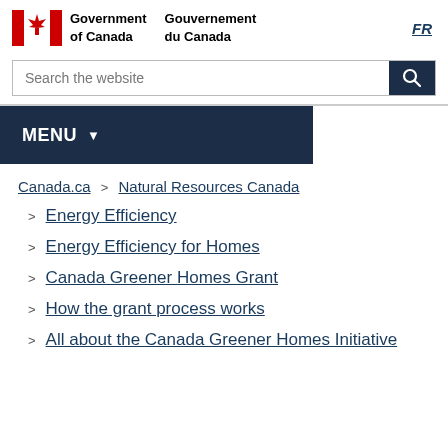Government of Canada / Gouvernement du Canada | FR
[Figure (logo): Government of Canada flag logo with maple leaf]
Search the website
MENU
Canada.ca > Natural Resources Canada
Energy Efficiency
Energy Efficiency for Homes
Canada Greener Homes Grant
How the grant process works
All about the Canada Greener Homes Initiative